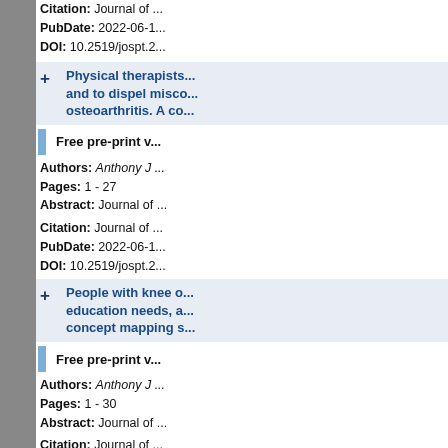Citation: Journal of ...
PubDate: 2022-06-1...
DOI: 10.2519/jospt.2...
Physical therapists... and to dispel miscon... osteoarthritis. A co...
Free pre-print v...
Authors: Anthony J ...
Pages: 1 - 27
Abstract: Journal of ...
Citation: Journal of ...
PubDate: 2022-06-1...
DOI: 10.2519/jospt.2...
People with knee o... education needs, a... concept mapping s...
Free pre-print v...
Authors: Anthony J ...
Pages: 1 - 30
Abstract: Journal of ...
Citation: Journal of ...
PubDate: 2022-06-1...